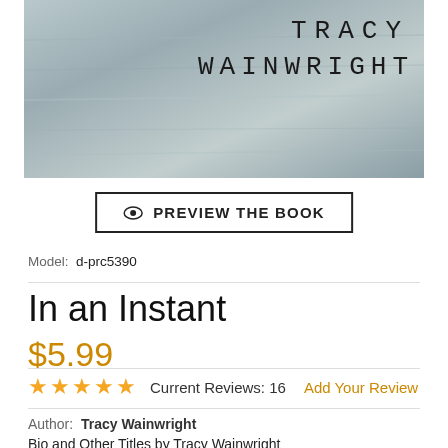[Figure (illustration): Book cover for 'In an Instant' by Tracy Wainwright, showing a grey textured background with the author's name in spaced capital letters.]
PREVIEW THE BOOK
Model:  d-prc5390
In an Instant
$5.99
★★★★★  Current Reviews: 16   Add Your Review
Author:  Tracy Wainwright
Bio and Other Titles by Tracy Wainwright